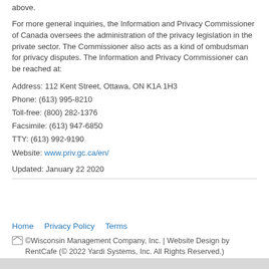above.
For more general inquiries, the Information and Privacy Commissioner of Canada oversees the administration of the privacy legislation in the private sector. The Commissioner also acts as a kind of ombudsman for privacy disputes. The Information and Privacy Commissioner can be reached at:
Address: 112 Kent Street, Ottawa, ON K1A 1H3
Phone: (613) 995-8210
Toll-free: (800) 282-1376
Facsimile: (613) 947-6850
TTY: (613) 992-9190
Website: www.priv.gc.ca/en/
Updated: January 22 2020
Home   Privacy Policy   Terms
©Wisconsin Management Company, Inc. | Website Design by RentCafe (© 2022 Yardi Systems, Inc. All Rights Reserved.)